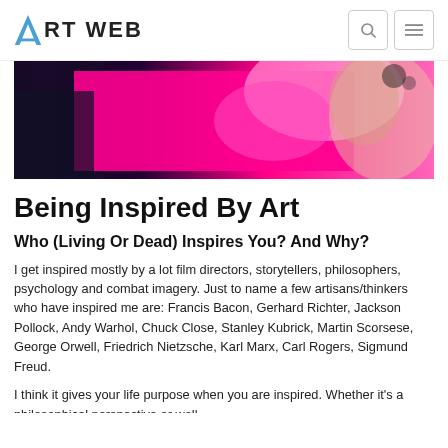ART WEB
[Figure (photo): Abstract artwork with bright magenta/pink and dark colors, partial face or figure visible]
Being Inspired By Art
Who (Living Or Dead) Inspires You? And Why?
I get inspired mostly by a lot film directors, storytellers, philosophers, psychology and combat imagery. Just to name a few artisans/thinkers who have inspired me are: Francis Bacon, Gerhard Richter, Jackson Pollock, Andy Warhol, Chuck Close, Stanley Kubrick, Martin Scorsese, George Orwell, Friedrich Nietzsche, Karl Marx, Carl Rogers, Sigmund Freud.
I think it gives your life purpose when you are inspired. Whether it's a philosophical perspective or well...